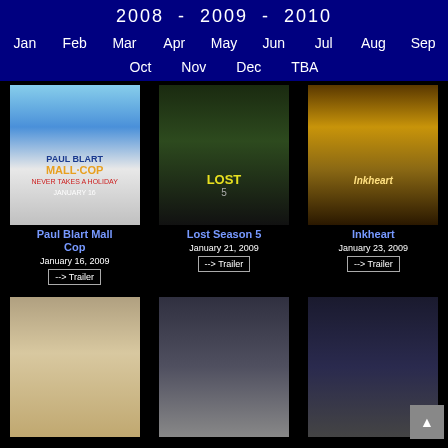2008 - 2009 - 2010
Jan  Feb  Mar  Apr  May  Jun  Jul  Aug  Sep
Oct  Nov  Dec  TBA
[Figure (photo): Movie poster for Paul Blart Mall Cop]
Paul Blart Mall Cop
January 16, 2009
--> Trailer
[Figure (photo): Movie poster for Lost Season 5]
Lost Season 5
January 21, 2009
--> Trailer
[Figure (photo): Movie poster for Inkheart]
Inkheart
January 23, 2009
--> Trailer
[Figure (photo): Movie poster for a romantic film (second row left)]
[Figure (photo): Movie poster for a war/action film (second row middle)]
[Figure (photo): Movie poster for a dark/thriller film (second row right)]